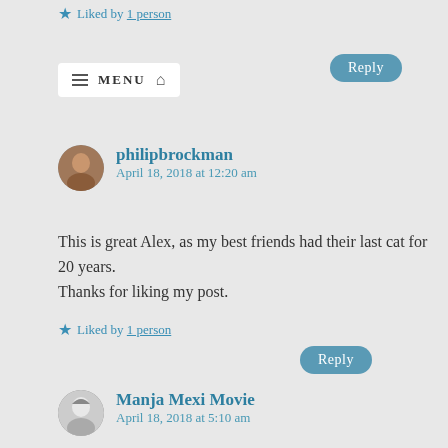★ Liked by 1 person
Reply
MENU (navigation bar)
philipbrockman
April 18, 2018 at 12:20 am
This is great Alex, as my best friends had their last cat for 20 years.
Thanks for liking my post.
★ Liked by 1 person
Reply
Manja Mexi Movie
April 18, 2018 at 5:10 am
Lovely. 🙂 Greetings to you, your dog and your Catch 22. Happy life.
★ Liked by 2 people